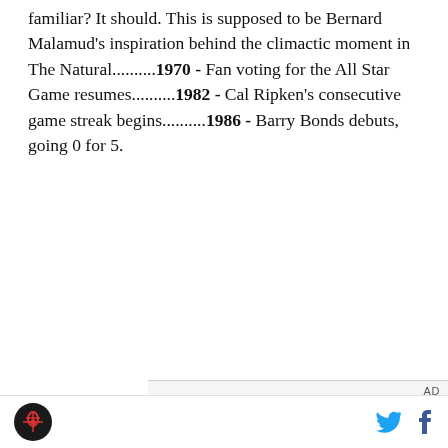familiar? It should. This is supposed to be Bernard Malamud's inspiration behind the climactic moment in The Natural..........1970 - Fan voting for the All Star Game resumes..........1982 - Cal Ripken's consecutive game streak begins..........1986 - Barry Bonds debuts, going 0 for 5.
[Figure (screenshot): Advertisement area with 'AD' label and a video player showing error message: 'The media could not be loaded, either because the server or network failed or because the format is not.']
Site logo (circular icon) | Twitter bird icon | Facebook f icon